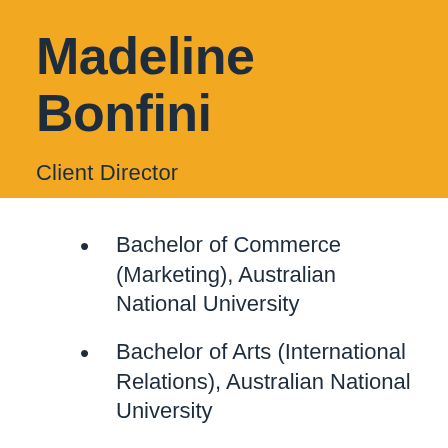Madeline Bonfini
Client Director
Bachelor of Commerce (Marketing), Australian National University
Bachelor of Arts (International Relations), Australian National University